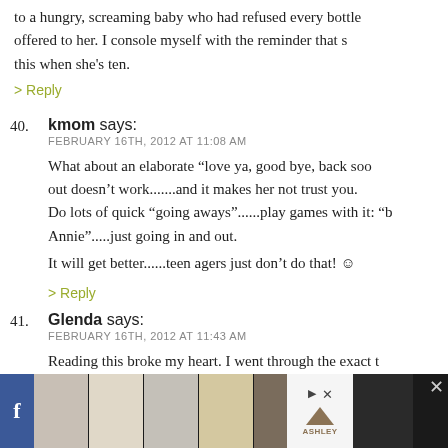to a hungry, screaming baby who had refused every bottle offered to her. I console myself with the reminder that she'll think this when she's ten.
> Reply
40. kmom says: FEBRUARY 16TH, 2012 AT 11:08 AM
What about an elaborate “love ya, good bye, back soon”...sneaking out doesn’t work.......and it makes her not trust you. Do lots of quick “going aways”......play games with it: “b Annie”.....just going in and out.
It will get better......teen agers just don’t do that! ☺
> Reply
41. Glenda says: FEBRUARY 16TH, 2012 AT 11:43 AM
Reading this broke my heart. I went through the exact t... daughter was 2. It lasted till she was about 2 and a half.
[Figure (screenshot): Advertisement bar at the bottom showing Facebook icon, multiple room/furniture images, Ashley Furniture logo, and a close button on a dark background.]